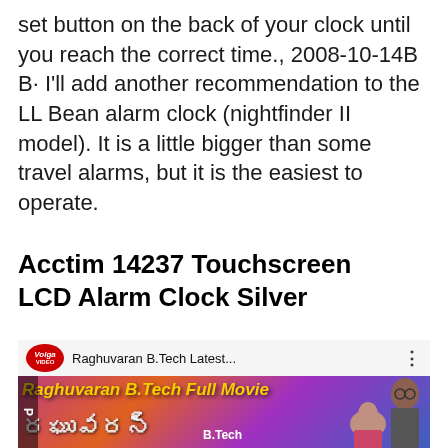set button on the back of your clock until you reach the correct time., 2008-10-14B B· I'll add another recommendation to the LL Bean alarm clock (nightfinder II model). It is a little bigger than some travel alarms, but it is the easiest to operate.
Acctim 14237 Touchscreen LCD Alarm Clock Silver
[Figure (screenshot): YouTube video thumbnail for 'Raghuvaran B.Tech Latest...' showing Volga Video logo, video title bar with three-dot menu, and movie poster art with 'Raghuvaran B.Tech Full Movie' text in yellow, colorful background, Telugu script text, and actors.]